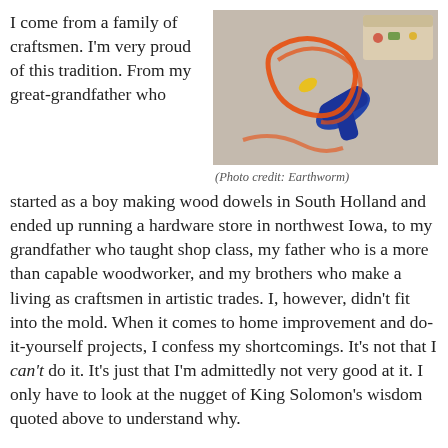I come from a family of craftsmen. I’m very proud of this tradition. From my great-grandfather who
[Figure (photo): Photo of power tools including a drill and orange extension cord on a carpeted floor, with a toolbox in the background.]
(Photo credit: Earthworm)
started as a boy making wood dowels in South Holland and ended up running a hardware store in northwest Iowa, to my grandfather who taught shop class, my father who is a more than capable woodworker, and my brothers who make a living as craftsmen in artistic trades. I, however, didn’t fit into the mold. When it comes to home improvement and do-it-yourself projects, I confess my shortcomings. It’s not that I can’t do it. It’s just that I’m admittedly not very good at it. I only have to look at the nugget of King Solomon’s wisdom quoted above to understand why.
When it comes to do-it-yourself projects I don’t have a natural knack for it and I get impatient. I start out with enthusiasm and